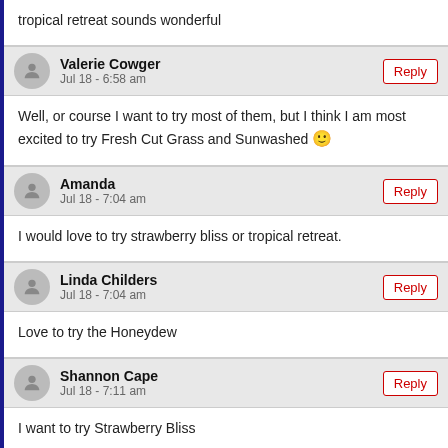tropical retreat sounds wonderful
Valerie Cowger
Jul 18 - 6:58 am
Well, or course I want to try most of them, but I think I am most excited to try Fresh Cut Grass and Sunwashed 🙂
Amanda
Jul 18 - 7:04 am
I would love to try strawberry bliss or tropical retreat.
Linda Childers
Jul 18 - 7:04 am
Love to try the Honeydew
Shannon Cape
Jul 18 - 7:11 am
I want to try Strawberry Bliss